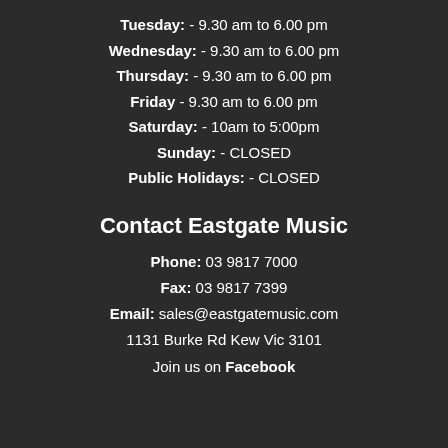Tuesday: - 9.30 am to 6.00 pm
Wednesday: - 9.30 am to 6.00 pm
Thursday: - 9.30 am to 6.00 pm
Friday - 9.30 am to 6.00 pm
Saturday: - 10am to 5:00pm
Sunday: - CLOSED
Public Holidays: - CLOSED
Contact Eastgate Music
Phone: 03 9817 7000
Fax: 03 9817 7399
Email: sales@eastgatemusic.com
1131 Burke Rd Kew Vic 3101
Join us on Facebook